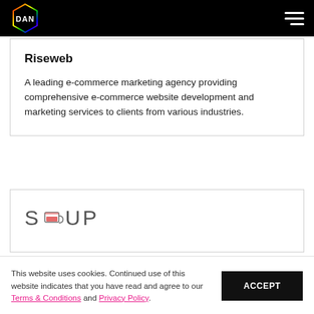DAN (logo) | Navigation menu
Riseweb
A leading e-commerce marketing agency providing comprehensive e-commerce website development and marketing services to clients from various industries.
[Figure (logo): SOUP brand logo with a bowl/cup icon replacing the letter O]
This website uses cookies. Continued use of this website indicates that you have read and agree to our Terms & Conditions and Privacy Policy.